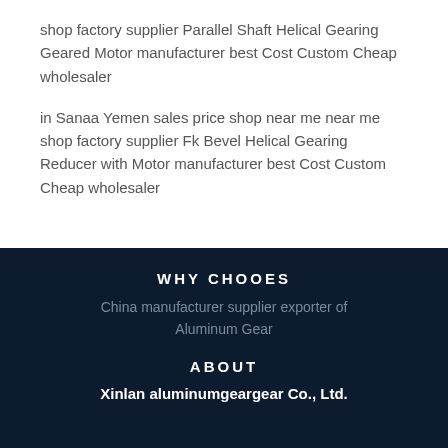shop factory supplier Parallel Shaft Helical Gearing Geared Motor manufacturer best Cost Custom Cheap wholesaler
in Sanaa Yemen sales price shop near me near me shop factory supplier Fk Bevel Helical Gearing Reducer with Motor manufacturer best Cost Custom Cheap wholesaler
WHY CHOOES
China manufacturer supplier exporter of Aluminum Gear
ABOUT
Xinlan aluminumgeargear Co., Ltd.